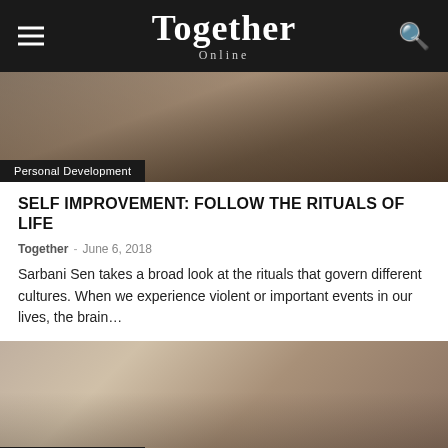Together Online
[Figure (photo): Hero image showing hands holding something, smoky/blurry background in dark warm tones]
Personal Development
SELF IMPROVEMENT: FOLLOW THE RITUALS OF LIFE
Together · June 6, 2018
Sarbani Sen takes a broad look at the rituals that govern different cultures. When we experience violent or important events in our lives, the brain...
[Figure (photo): Second article image with warm toned blurry background]
Personal Development
SELF HELP: A HAPPY LIFE IN THE AGE OF URGENCY